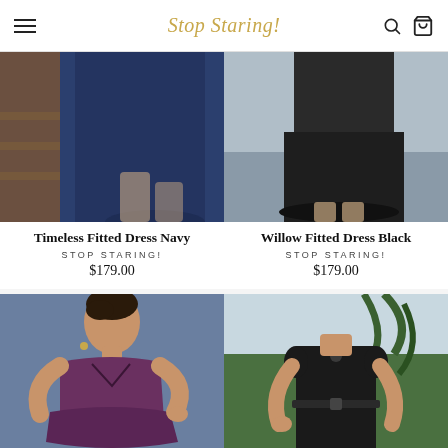Stop Staring!
[Figure (photo): Timeless Fitted Dress Navy - close-up of blue navy dress with wooden staircase background]
[Figure (photo): Willow Fitted Dress Black - close-up of black fitted dress with grey background]
Timeless Fitted Dress Navy
STOP STARING!
$179.00
Willow Fitted Dress Black
STOP STARING!
$179.00
[Figure (photo): Woman wearing purple peplum dress with V-neckline, retro pinup style, blue background]
[Figure (photo): Woman wearing black fitted dress with keyhole neckline and belt, outdoor tropical background]